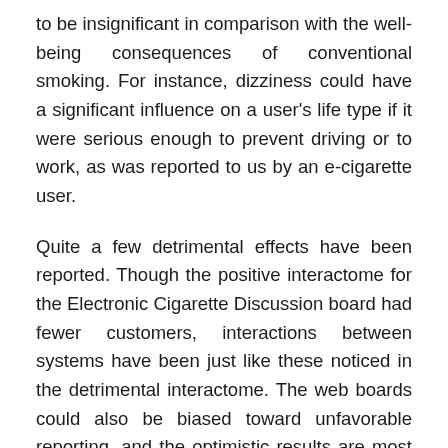to be insignificant in comparison with the well-being consequences of conventional smoking. For instance, dizziness could have a significant influence on a user's life type if it were serious enough to prevent driving or to work, as was reported to us by an e-cigarette user.
Quite a few detrimental effects have been reported. Though the positive interactome for the Electronic Cigarette Discussion board had fewer customers, interactions between systems have been just like these noticed in the detrimental interactome. The web boards could also be biased toward unfavorable reporting, and the optimistic results are most likely below-reported in our analysis. In addition, user posts cannot be validated, and it is feasible that inaccurate data seems within the boards. This info may be helpful to physicians treating